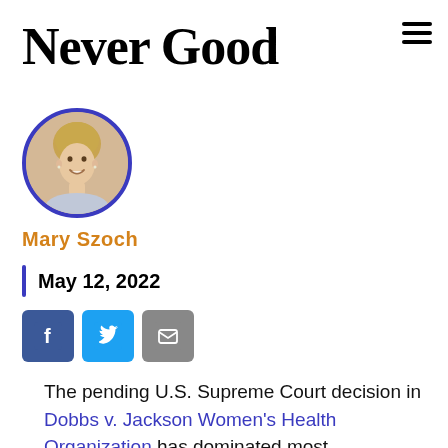Never Good
[Figure (photo): Circular profile photo of Mary Szoch, a woman with blonde hair, smiling, with a blue circle border]
Mary Szoch
May 12, 2022
[Figure (infographic): Three social media share buttons: Facebook (blue), Twitter (light blue), Email (gray)]
The pending U.S. Supreme Court decision in Dobbs v. Jackson Women's Health Organization has dominated most conversation on Capitol Hill over the past week. U.S. Treasury Secretary Janet